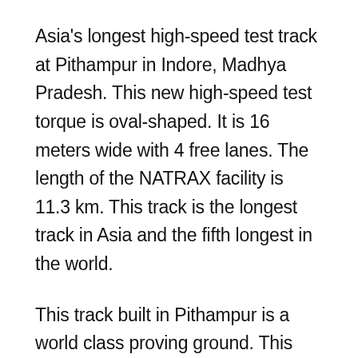Asia's longest high-speed test track at Pithampur in Indore, Madhya Pradesh. This new high-speed test torque is oval-shaped. It is 16 meters wide with 4 free lanes. The length of the NATRAX facility is 11.3 km. This track is the longest track in Asia and the fifth longest in the world.
This track built in Pithampur is a world class proving ground. This includes other test tracks for automotive and component testing. The new facility will ensure that the vehicles can be tested and evaluated in India itself. The new track has been designed for a neutral speed of 250 kmph